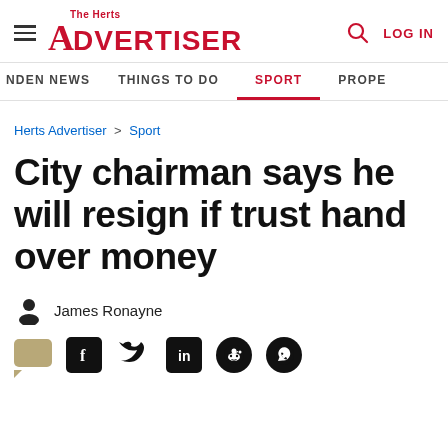The Herts Advertiser — LOG IN
NDEN NEWS   THINGS TO DO   SPORT   PROPE
Herts Advertiser > Sport
City chairman says he will resign if trust hand over money
James Ronayne